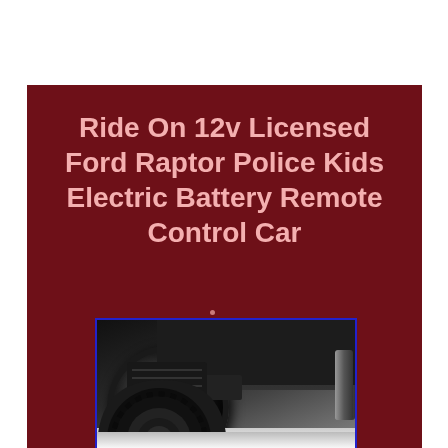Ride On 12v Licensed Ford Raptor Police Kids Electric Battery Remote Control Car
[Figure (photo): Close-up photo of a black ride-on electric toy car (Ford Raptor Police edition) showing front wheel/tire and portion of the vehicle body against a white background, inside a blue-bordered frame]